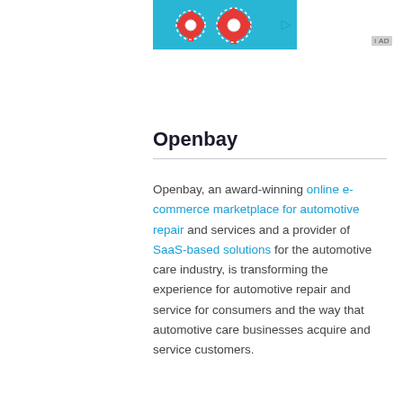[Figure (screenshot): A partial advertisement banner showing a blue background with two red gear/cog icons and an arrow, with an 'AD' label badge in the upper right corner.]
Openbay
Openbay, an award-winning online e-commerce marketplace for automotive repair and services and a provider of SaaS-based solutions for the automotive care industry, is transforming the experience for automotive repair and service for consumers and the way that automotive care businesses acquire and service customers.